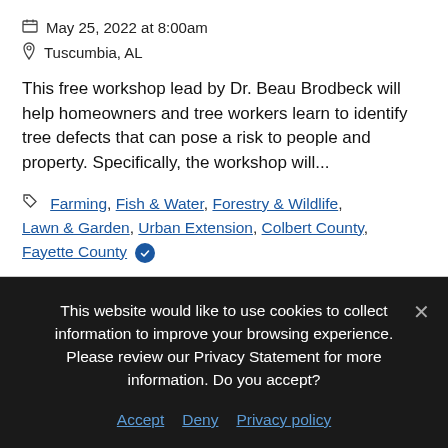May 25, 2022 at 8:00am
Tuscumbia, AL
This free workshop lead by Dr. Beau Brodbeck will help homeowners and tree workers learn to identify tree defects that can pose a risk to people and property. Specifically, the workshop will...
Farming, Fish & Water, Forestry & Wildlife, Lawn & Garden, Urban Extension, Colbert County, Fayette County
This website would like to use cookies to collect information to improve your browsing experience. Please review our Privacy Statement for more information. Do you accept?
Accept  Deny  Privacy policy